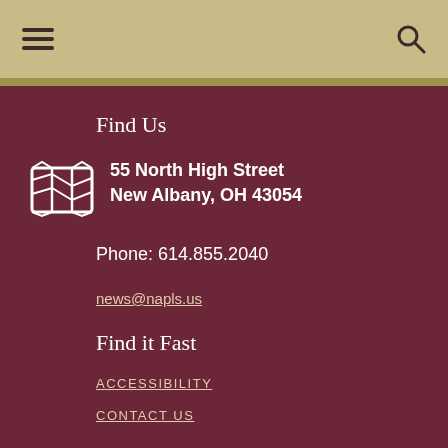Navigation header with hamburger menu and search icon
Find Us
55 North High Street
New Albany, OH 43054
Phone: 614.855.2040
news@napls.us
Find it Fast
ACCESSIBILITY
CONTACT US